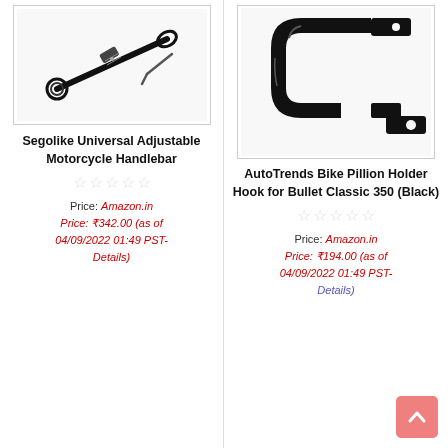[Figure (photo): Segolike Universal Adjustable Motorcycle Handlebar product image on white background]
Segolike Universal Adjustable Motorcycle Handlebar
Price: Amazon.in Price: ₹342.00 (as of 04/09/2022 01:49 PST- Details)
[Figure (photo): AutoTrends Bike Pillion Holder Hook for Bullet Classic 350 (Black) product image on white background]
AutoTrends Bike Pillion Holder Hook for Bullet Classic 350 (Black)
Price: Amazon.in Price: ₹194.00 (as of 04/09/2022 01:49 PST- Details)